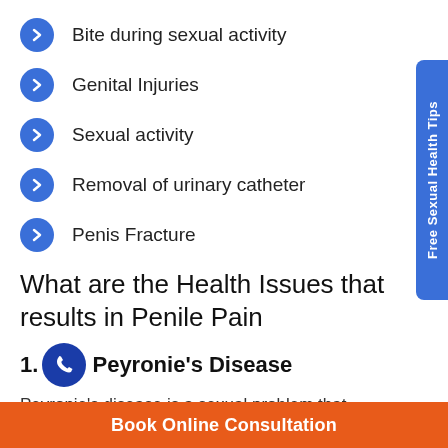Bite during sexual activity
Genital Injuries
Sexual activity
Removal of urinary catheter
Penis Fracture
What are the Health Issues that results in Penile Pain
1. Peyronie's Disease
Peyronie's disease is a sexual problem that occur
Free Sexual Health Tips
Book Online Consultation